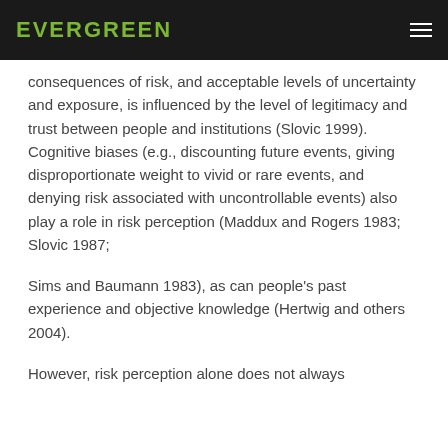EVERGREEN
consequences of risk, and acceptable levels of uncertainty and exposure, is influenced by the level of legitimacy and trust between people and institutions (Slovic 1999). Cognitive biases (e.g., discounting future events, giving disproportionate weight to vivid or rare events, and denying risk associated with uncontrollable events) also play a role in risk perception (Maddux and Rogers 1983; Slovic 1987;
Sims and Baumann 1983), as can people's past experience and objective knowledge (Hertwig and others 2004).
However, risk perception alone does not always